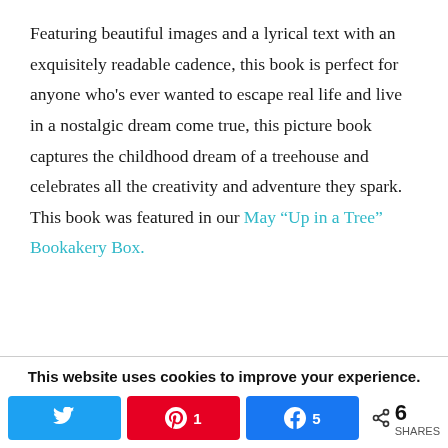Featuring beautiful images and a lyrical text with an exquisitely readable cadence, this book is perfect for anyone who's ever wanted to escape real life and live in a nostalgic dream come true, this picture book captures the childhood dream of a treehouse and celebrates all the creativity and adventure they spark. This book was featured in our May "Up in a Tree" Bookakery Box.
This website uses cookies to improve your experience. We'll assume you're ok with this, but you can opt-out if you
[Figure (infographic): Social share bar with Twitter button, Pinterest button showing count 1, Facebook button showing count 5, and total share count of 6 SHARES]